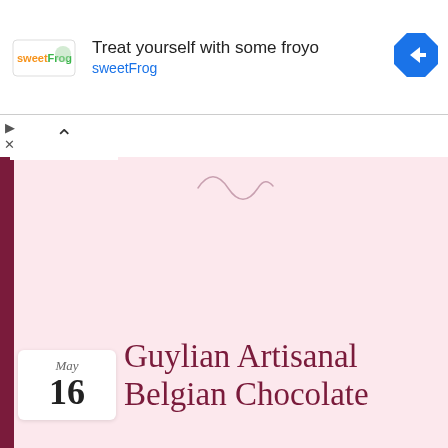[Figure (screenshot): Ad banner for sweetFrog frozen yogurt with logo, text 'Treat yourself with some froyo sweetFrog', and navigation arrow icon]
Guylian Artisanal Belgian Chocolate
May 16
[Figure (photo): Photo collage showing Guylian Belgian Chocolate boxes and products arranged on a table, shown twice side by side]